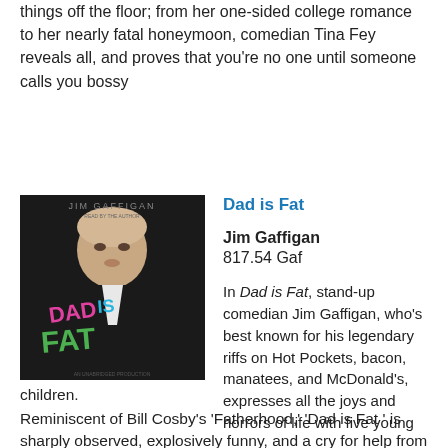things off the floor; from her one-sided college romance to her nearly fatal honeymoon, comedian Tina Fey reveals all, and proves that you're no one until someone calls you bossy
[Figure (photo): Book cover of 'Dad is Fat' by Jim Gaffigan — black and white photo of Jim Gaffigan in a suit, with colorful graffiti-style text reading 'DAD IS FAT'. Text at top reads 'JIM GAFFIGAN READ BY THE AUTHOR'. Bottom reads 'AN UNABRIDGED PRODUCTION'.]
Dad is Fat
Jim Gaffigan
817.54 Gaf
In Dad is Fat, stand-up comedian Jim Gaffigan, who's best known for his legendary riffs on Hot Pockets, bacon, manatees, and McDonald's, expresses all the joys and horrors of life with five young children.
Reminiscent of Bill Cosby's 'Fatherhood,' 'Dad is Fat ' is sharply observed, explosively funny, and a cry for help from a man who